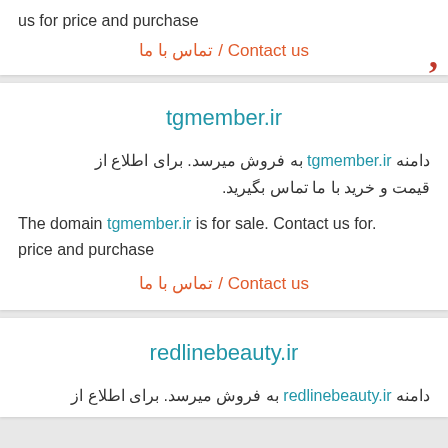us for price and purchase
تماس با ما / Contact us
tgmember.ir
دامنه tgmember.ir به فروش میرسد. برای اطلاع از قیمت و خرید با ما تماس بگیرید.
The domain tgmember.ir is for sale. Contact us for. price and purchase
تماس با ما / Contact us
redlinebeauty.ir
دامنه redlinebeauty.ir به فروش میرسد. برای اطلاع از